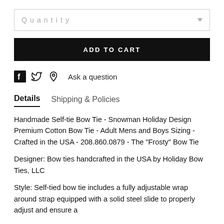Quantity
ADD TO CART
Ask a question
Details   Shipping & Policies
Handmade Self-tie Bow Tie - Snowman Holiday Design Premium Cotton Bow Tie - Adult Mens and Boys Sizing - Crafted in the USA - 208.860.0879 - The "Frosty" Bow Tie
Designer: Bow ties handcrafted in the USA by Holiday Bow Ties, LLC
Style: Self-tied bow tie includes a fully adjustable wrap around strap equipped with a solid steel slide to properly adjust and ensure a